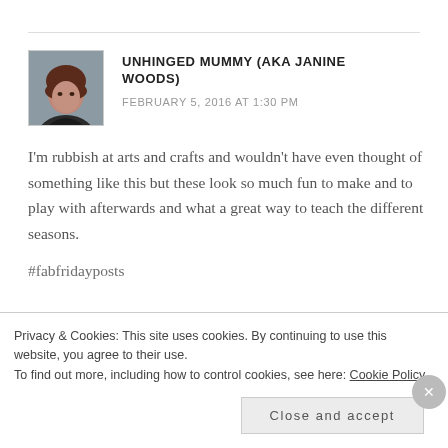[Figure (photo): Avatar photo of Unhinged Mummy (aka Janine Woods) — a woman in a dark top against a light background]
UNHINGED MUMMY (AKA JANINE WOODS)
FEBRUARY 5, 2016 AT 1:30 PM
I'm rubbish at arts and crafts and wouldn't have even thought of something like this but these look so much fun to make and to play with afterwards and what a great way to teach the different seasons.
#fabfridayposts
Privacy & Cookies: This site uses cookies. By continuing to use this website, you agree to their use.
To find out more, including how to control cookies, see here: Cookie Policy
Close and accept